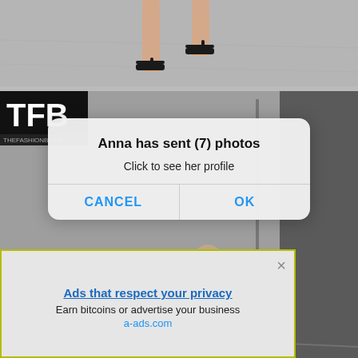[Figure (photo): Photo of woman's feet wearing black strappy heels on a grey floor, cropped to show legs and feet]
[Figure (screenshot): Background showing TFB logo (white text on black) and partial view of a woman, with a mobile OS dialog overlay reading 'Anna has sent (7) photos / Click to see her profile' with CANCEL and OK buttons]
Anna has sent (7) photos
Click to see her profile
CANCEL
OK
[Figure (screenshot): Ad banner with yellow-green border showing 'Ads that respect your privacy / Earn bitcoins or advertise your business / a-ads.com']
Ads that respect your privacy
Earn bitcoins or advertise your business
a-ads.com